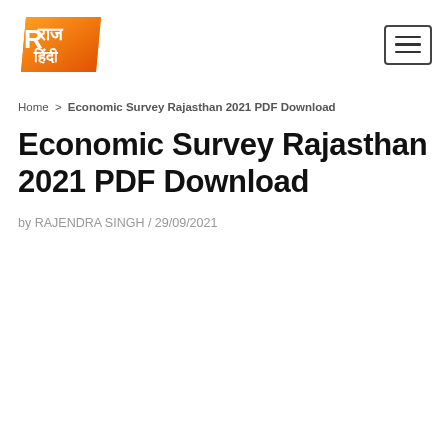[Figure (logo): Raj Hindi logo - orange parallelogram shape with Hindi text राज हिंदी in white and orange]
Navigation header with Raj Hindi logo and hamburger menu button
Home > Economic Survey Rajasthan 2021 PDF Download
Economic Survey Rajasthan 2021 PDF Download
by RAJENDRA SINGH / 29/09/2021